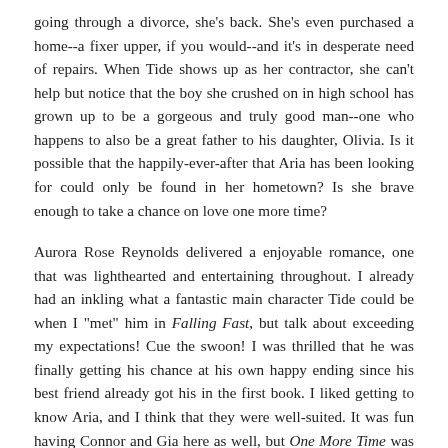going through a divorce, she's back. She's even purchased a home--a fixer upper, if you would--and it's in desperate need of repairs. When Tide shows up as her contractor, she can't help but notice that the boy she crushed on in high school has grown up to be a gorgeous and truly good man--one who happens to also be a great father to his daughter, Olivia. Is it possible that the happily-ever-after that Aria has been looking for could only be found in her hometown? Is she brave enough to take a chance on love one more time?
Aurora Rose Reynolds delivered a enjoyable romance, one that was lighthearted and entertaining throughout. I already had an inkling what a fantastic main character Tide could be when I "met" him in Falling Fast, but talk about exceeding my expectations! Cue the swoon! I was thrilled that he was finally getting his chance at his own happy ending since his best friend already got his in the first book. I liked getting to know Aria, and I think that they were well-suited. It was fun having Connor and Gia here as well, but One More Time was truly Tide and Aria's (and Olivia's!) story and it was a good one. Four stars.